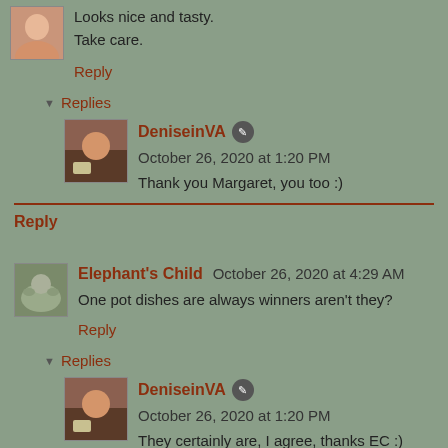Looks nice and tasty.
Take care.
Reply
▼ Replies
DeniseinVA ✏ October 26, 2020 at 1:20 PM
Thank you Margaret, you too :)
Reply
Elephant's Child  October 26, 2020 at 4:29 AM
One pot dishes are always winners aren't they?
Reply
▼ Replies
DeniseinVA ✏ October 26, 2020 at 1:20 PM
They certainly are, I agree, thanks EC :)